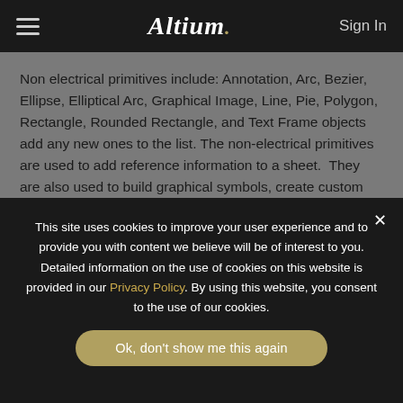Altium  Sign In
Non electrical primitives include: Annotation, Arc, Bezier, Ellipse, Elliptical Arc, Graphical Image, Line, Pie, Polygon, Rectangle, Rounded Rectangle, and Text Frame objects add any new ones to the list. The non-electrical primitives are used to add reference information to a sheet.  They are also used to build graphical symbols, create custom sheet borders, title blocks or adding notes and instructions.
The Schematic editor has other system objects such as a container for templates, preferences settings, a search facility, a font manager, a robot manager/capture events of
This site uses cookies to improve your user experience and to provide you with content we believe will be of interest to you. Detailed information on the use of cookies on this website is provided in our Privacy Policy. By using this website, you consent to the use of our cookies.
Ok, don't show me this again